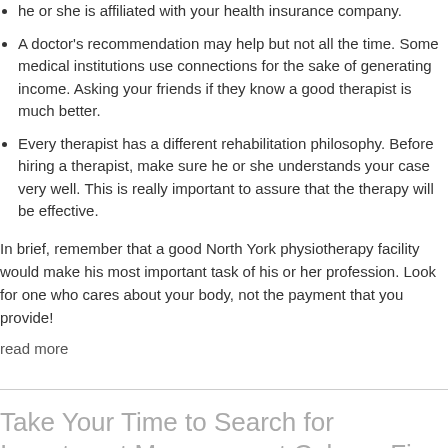he or she is affiliated with your health insurance company.
A doctor's recommendation may help but not all the time. Some medical institutions use connections for the sake of generating income. Asking your friends if they know a good therapist is much better.
Every therapist has a different rehabilitation philosophy. Before hiring a therapist, make sure he or she understands your case very well. This is really important to assure that the therapy will be effective.
In brief, remember that a good North York physiotherapy facility would make his most important task of his or her profession. Look for one who cares about your body, not the payment that you provide!
read more
Take Your Time to Search for Investment Management Calgary Firm
Posted by Walter Madison in News | 0 comments
It is not easy to find someone w…